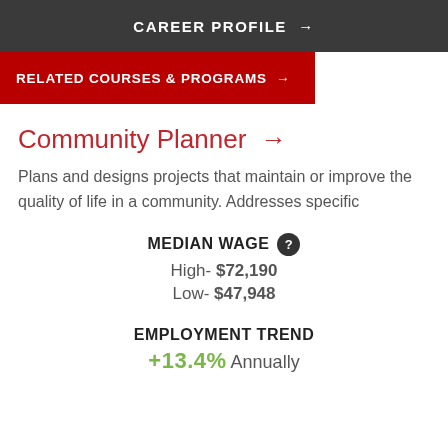CAREER PROFILE →
RELATED COURSES & PROGRAMS →
Community Planner →
Plans and designs projects that maintain or improve the quality of life in a community. Addresses specific
MEDIAN WAGE ? High- $72,190 Low- $47,948
EMPLOYMENT TREND +13.4% Annually